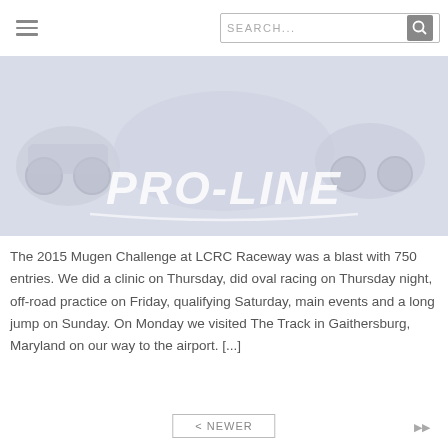SEARCH...
[Figure (logo): Pro-Line Racing logo banner with RC cars in background, italic stylized text reading PRO-LINE]
The 2015 Mugen Challenge at LCRC Raceway was a blast with 750 entries. We did a clinic on Thursday, did oval racing on Thursday night, off-road practice on Friday, qualifying Saturday, main events and a long jump on Sunday. On Monday we visited The Track in Gaithersburg, Maryland on our way to the airport. [...]
< NEWER